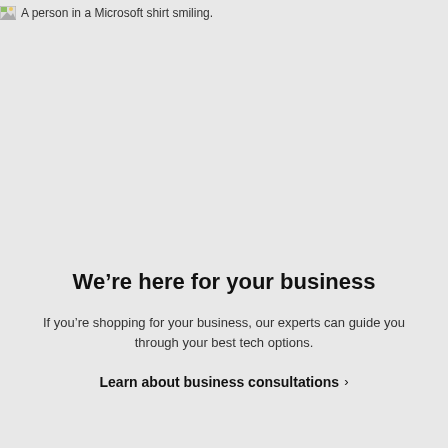[Figure (photo): A person in a Microsoft shirt smiling. (broken/unloaded image placeholder)]
We’re here for your business
If you’re shopping for your business, our experts can guide you through your best tech options.
Learn about business consultations ›